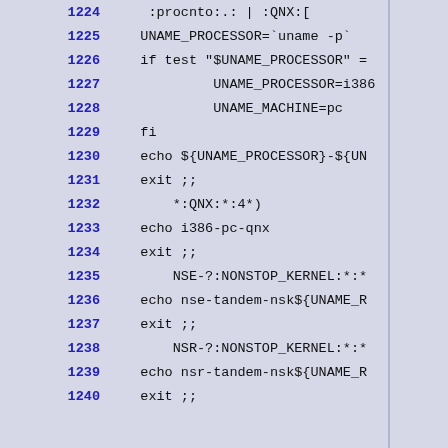1224    :procnto:.:  | :QNX:[
1225    UNAME_PROCESSOR=`uname -p`
1226    if test "$UNAME_PROCESSOR" =
1227            UNAME_PROCESSOR=i386
1228            UNAME_MACHINE=pc
1229    fi
1230    echo ${UNAME_PROCESSOR}-${UN
1231    exit ;;
1232        *:QNX:*:4*)
1233    echo i386-pc-qnx
1234    exit ;;
1235        NSE-?:NONSTOP_KERNEL:*:*
1236    echo nse-tandem-nsk${UNAME_R
1237    exit ;;
1238        NSR-?:NONSTOP_KERNEL:*:*
1239    echo nsr-tandem-nsk${UNAME_R
1240    exit ;;